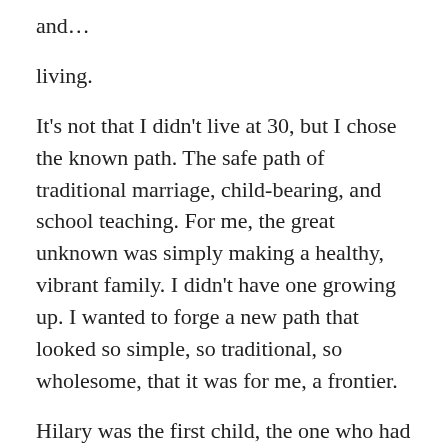and…
living.
It's not that I didn't live at 30, but I chose the known path. The safe path of traditional marriage, child-bearing, and school teaching. For me, the great unknown was simply making a healthy, vibrant family. I didn't have one growing up. I wanted to forge a new path that looked so simple, so traditional, so wholesome, that it was for me, a frontier.
Hilary was the first child, the one who had to bear with all my learning and figuring it out. I may have taught her how to put on her shoes, brush her teeth, and know the front from the back of her clothing, but she's the one who taught me how to be patient, how to cuddle,